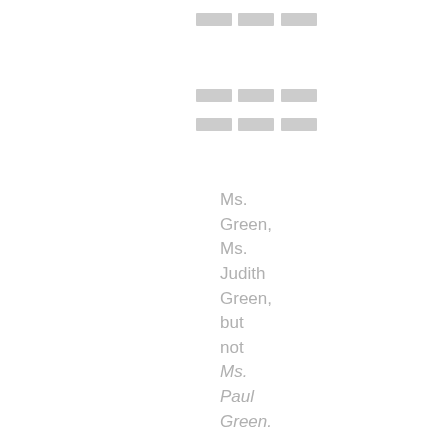███
███
███
Ms. Green, Ms. Judith Green, but not Ms. Paul Green.
█ █ █ ██ █ █ █ .